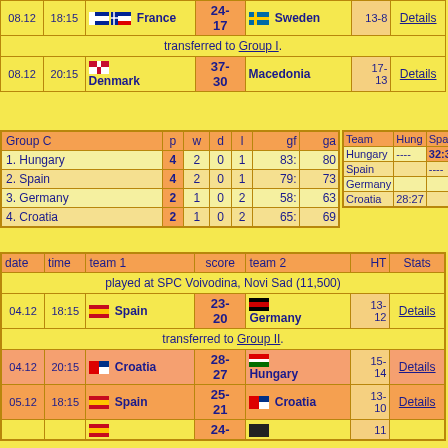| date | time | team 1 | score | team 2 | HT | Stats |
| --- | --- | --- | --- | --- | --- | --- |
| 08.12 | 18:15 | France | 24-17 | Sweden | 13-8 | Details |
| transferred to Group I. |  |  |  |  |  |  |
| 08.12 | 20:15 | Denmark | 37-30 | Macedonia | 17-13 | Details |
| Group C | p | w | d | l | gf | ga |
| --- | --- | --- | --- | --- | --- | --- |
| 1. Hungary | 4 | 2 | 0 | 1 | 83: | 80 |
| 2. Spain | 4 | 2 | 0 | 1 | 79: | 73 |
| 3. Germany | 2 | 1 | 0 | 2 | 58: | 63 |
| 4. Croatia | 2 | 1 | 0 | 2 | 65: | 69 |
| Team | Hung | Spai | ... |
| --- | --- | --- | --- |
| Hungary | ---- | 32:31 | ... |
| Spain |  | ---- | ... |
| Germany |  |  | ... |
| Croatia | 28:27 |  | ... |
| date | time | team 1 | score | team 2 | HT | Stats |
| --- | --- | --- | --- | --- | --- | --- |
| 04.12 | 18:15 | Spain | 23-20 | Germany | 13-12 | Details |
| transferred to Group II. |  |  |  |  |  |  |
| 04.12 | 20:15 | Croatia | 28-27 | Hungary | 15-14 | Details |
| 05.12 | 18:15 | Spain | 25-21 | Croatia | 13-10 | Details |
| ... | ... | ... | 24-... | ... | 11 | ... |